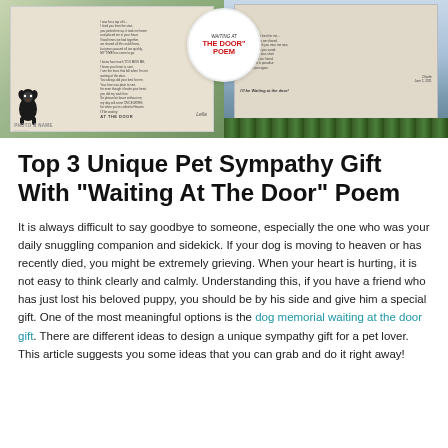[Figure (photo): Two product images side by side showing pet sympathy gifts with 'Waiting At The Door' poem. Left image shows a canvas/blanket with a dachshund dog photo and poem text, labeled 'PHOTO & NAME'. Center has a circular white badge with red text reading 'WAITING AT THE DOOR POEM'. Right image shows a beach-themed canvas with a dog and poem text.]
Top 3 Unique Pet Sympathy Gift With "Waiting At The Door" Poem
It is always difficult to say goodbye to someone, especially the one who was your daily snuggling companion and sidekick. If your dog is moving to heaven or has recently died, you might be extremely grieving. When your heart is hurting, it is not easy to think clearly and calmly. Understanding this, if you have a friend who has just lost his beloved puppy, you should be by his side and give him a special gift. One of the most meaningful options is the dog memorial waiting at the door gift. There are different ideas to design a unique sympathy gift for a pet lover. This article suggests you some ideas that you can grab and do it right away!